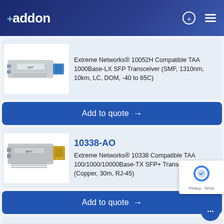+addon
[Figure (photo): SFP transceiver module with blue connectors on light background]
Extreme Networks® 10052H Compatible TAA 1000Base-LX SFP Transceiver (SMF, 1310nm, 10km, LC, DOM, -40 to 85C)
Add to quote →
10338-AO
[Figure (photo): SFP+ transceiver module with gold/copper RJ-45 connector]
Extreme Networks® 10338 Compatible TAA 100/1000/10000Base-TX SFP+ Transceiver (Copper, 30m, RJ-45)
Add to quote →